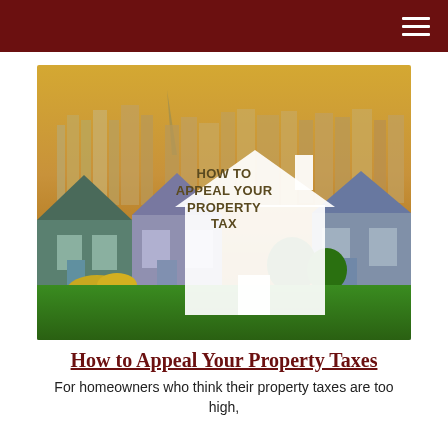[Figure (illustration): Hero image of San Francisco Victorian houses (Painted Ladies) with city skyline at sunset. A large white house silhouette overlay in the center contains bold text reading HOW TO APPEAL YOUR PROPERTY TAX in dark/olive colored lettering.]
How to Appeal Your Property Taxes
For homeowners who think their property taxes are too high,